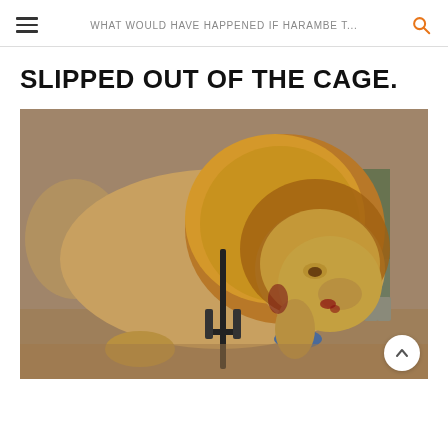WHAT WOULD HAVE HAPPENED IF HARAMBE T...
SLIPPED OUT OF THE CAGE.
[Figure (photo): A lion with a bloody face and leg restraint, hunched over, being handled by people in the background. The lion appears sedated or injured, with a collar/cuff on its paw.]